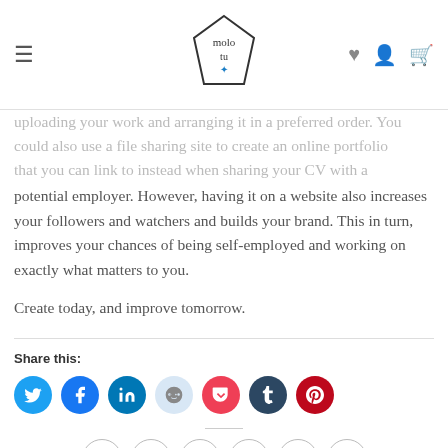molo tu — navigation bar with hamburger menu, logo, heart, user, and cart icons
uploading your work and arranging it in a preferred order. You could also use a file sharing site to create an online portfolio that you can link to instead when sharing your CV with a potential employer. However, having it on a website also increases your followers and watchers and builds your brand. This in turn, improves your chances of being self-employed and working on exactly what matters to you.
Create today, and improve tomorrow.
Share this:
[Figure (infographic): Row of 7 colored social share icon circles: Twitter (blue), Facebook (blue), LinkedIn (dark blue), Reddit (light blue), Pocket (red), Tumblr (dark navy), Pinterest (dark red)]
[Figure (infographic): Row of 6 outline social share icon circles: WhatsApp, Facebook, Twitter, Email, Pinterest, LinkedIn]
This entry was posted in Advice, Art, Beauty, Decor, Fashion, Guides,